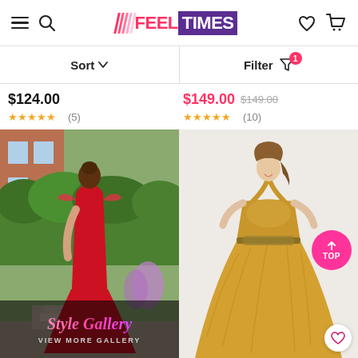FEELTIMES — Sort / Filter (1 active filter)
$124.00 ★★★★★ (5)
$149.00 $149.00 ★★★★★ (10)
[Figure (photo): Woman wearing a red off-shoulder mermaid prom dress, photographed outdoors in front of a brick house and green hedges. Overlay reads 'Style Gallery / VIEW MORE GALLERY']
[Figure (photo): Woman wearing a gold halter-neck ball gown prom dress with lace bodice, photographed against a light background. Has a pink circular 'TOP' button overlay and a heart/wishlist button.]